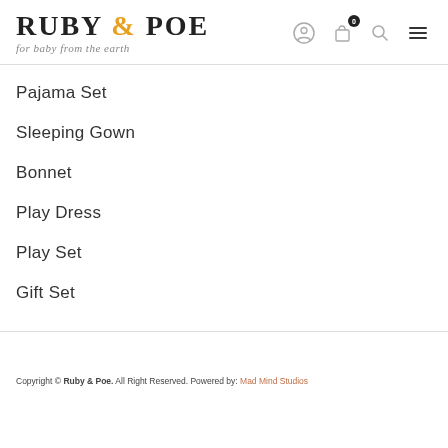RUBY & POE for baby from the earth
Pajama Set
Sleeping Gown
Bonnet
Play Dress
Play Set
Gift Set
Copyright © Ruby & Poe. All Right Reserved. Powered by: Mad Mind Studios